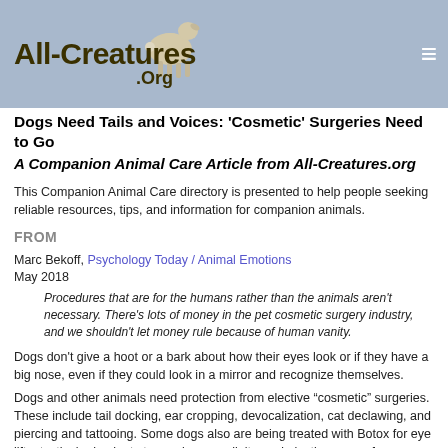All-Creatures.Org
Dogs Need Tails and Voices: 'Cosmetic' Surgeries Need to Go
A Companion Animal Care Article from All-Creatures.org
This Companion Animal Care directory is presented to help people seeking reliable resources, tips, and information for companion animals.
FROM
Marc Bekoff, Psychology Today / Animal Emotions
May 2018
Procedures that are for the humans rather than the animals aren't necessary. There's lots of money in the pet cosmetic surgery industry, and we shouldn't let money rule because of human vanity.
Dogs don't give a hoot or a bark about how their eyes look or if they have a big nose, even if they could look in a mirror and recognize themselves.
Dogs and other animals need protection from elective “cosmetic” surgeries. These include tail docking, ear cropping, devocalization, cat declawing, and piercing and tattooing. Some dogs also are being treated with Botox for eye lifts, testicular implants to regain masculinity, and plastic surgery for nose jobs and tummy tucks (Naia Carlos 2017). I see absolutely no reason for any cosmetic or breed-specific surgeries, or those that are done to make it easier to live with a